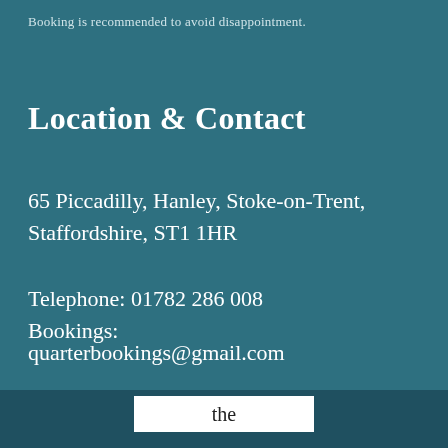Booking is recommended to avoid disappointment.
Location & Contact
65 Piccadilly, Hanley, Stoke-on-Trent, Staffordshire, ST1 1HR
Telephone: 01782 286 008
Bookings:
quarterbookings@gmail.com
the